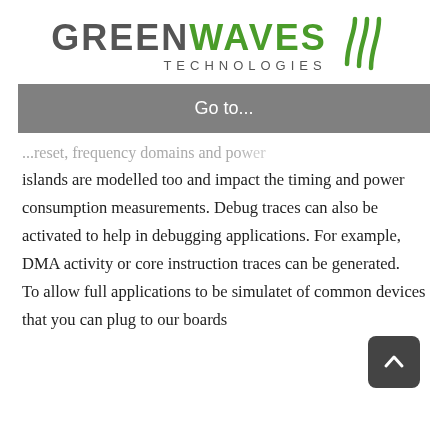[Figure (logo): GreenWaves Technologies logo with stylized green wave marks on the right]
Go to...
...reset, frequency domains and power islands are modelled too and impact the timing and power consumption measurements. Debug traces can also be activated to help in debugging applications. For example, DMA activity or core instruction traces can be generated. To allow full applications to be simulated, a set of common devices that you can plug to our boards